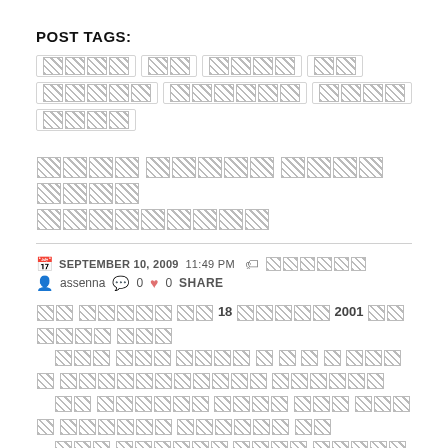POST TAGS:
[tag items in Tigrinya/Ethiopic script - rendered as placeholder blocks]
[Post title in Ethiopic/Tigrinya script - rendered as placeholder blocks]
SEPTEMBER 10, 2009  11:49 pm  [tag label in Ethiopic]
assenna  0  0  SHARE
[Body paragraph in Ethiopic/Tigrinya script containing: 18 [word] 2001 ...]